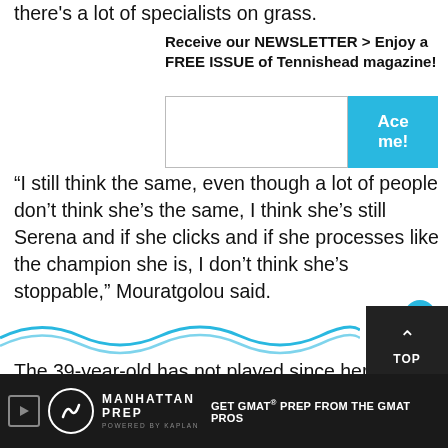there's a lot of specialists on grass.
Receive our NEWSLETTER > Enjoy a FREE ISSUE of Tennishead magazine!
[Figure (screenshot): Newsletter signup form with text input field and cyan 'Ace me!' button]
“I still think the same, even though a lot of people don’t think she’s the same, I think she’s still Serena and if she clicks and if she processes like the champion she is, I don’t think she’s stoppable,” Mouratgolou said.
The 39-year-old has not played since her fourth round exit at French Open in
[Figure (screenshot): Manhattan Prep advertisement bar — GET GMAT® PREP FROM THE GMAT PROS]
[Figure (screenshot): Close button (X) and TOP navigation button overlaying wave graphic]